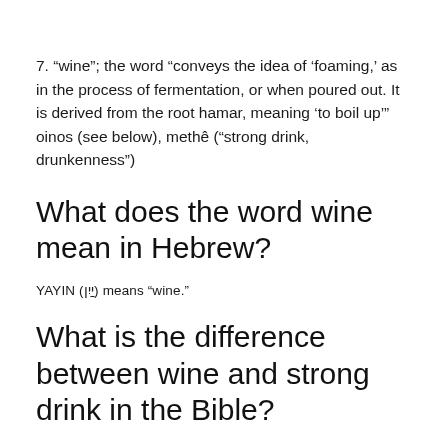7. “wine”; the word “conveys the idea of ‘foaming,’ as in the process of fermentation, or when poured out. It is derived from the root hamar, meaning ‘to boil up’” oinos (see below), methê (“strong drink, drunkenness”)
What does the word wine mean in Hebrew?
YAYIN (יַיִן) means “wine.”
What is the difference between wine and strong drink in the Bible?